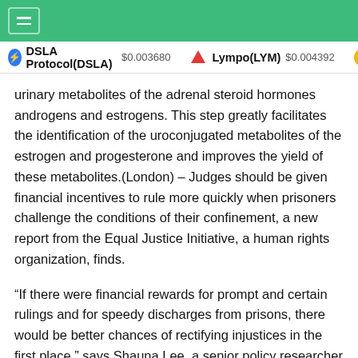DSLA Protocol(DSLA) $0.003680   Lympo(LYM) $0.004392
urinary metabolites of the adrenal steroid hormones androgens and estrogens. This step greatly facilitates the identification of the uroconjugated metabolites of the estrogen and progesterone and improves the yield of these metabolites.(London) – Judges should be given financial incentives to rule more quickly when prisoners challenge the conditions of their confinement, a new report from the Equal Justice Initiative, a human rights organization, finds.
“If there were financial rewards for prompt and certain rulings and for speedy discharges from prisons, there would be better chances of rectifying injustices in the first place,” says Shauna Lee, a senior policy researcher at the Equal Justice Initiative and